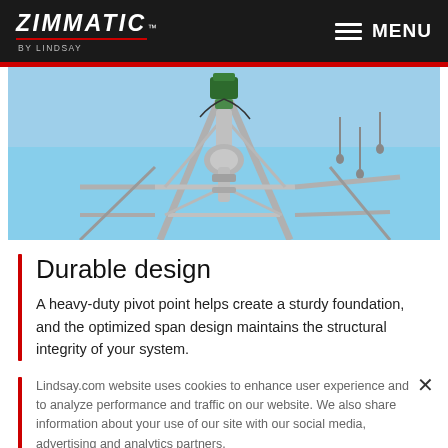ZIMMATIC BY LINDSAY — MENU
[Figure (photo): Close-up photo of a heavy-duty pivot point irrigation system with metal pipe gooseneck, A-frame tower structure, green motor/gearbox at top, and hanging drop tubes against a blue sky.]
Durable design
A heavy-duty pivot point helps create a sturdy foundation, and the optimized span design maintains the structural integrity of your system.
Lindsay.com website uses cookies to enhance user experience and to analyze performance and traffic on our website. We also share information about your use of our site with our social media, advertising and analytics partners.